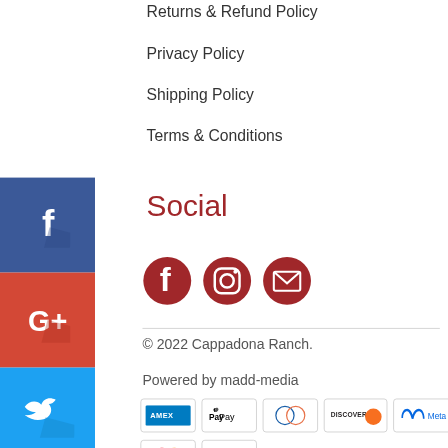Returns & Refund Policy
Privacy Policy
Shipping Policy
Terms & Conditions
[Figure (logo): Facebook square blue icon]
[Figure (logo): Google Plus red square icon]
[Figure (logo): Twitter blue square icon]
[Figure (logo): Pinterest red square icon]
Social
[Figure (logo): Three dark red circle icons: Facebook, Instagram, Email]
© 2022 Cappadona Ranch.
Powered by madd-media
[Figure (logo): Payment method icons: AMEX, Apple Pay, Diners Club, Discover, Meta Pay, Mastercard, VISA]